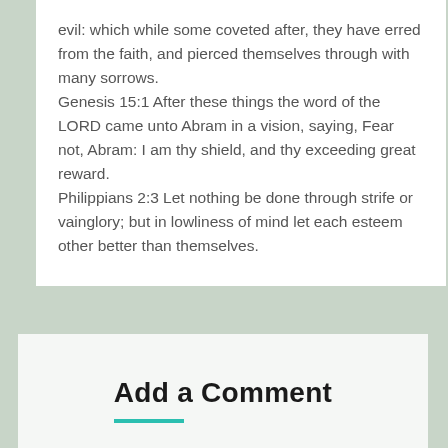evil: which while some coveted after, they have erred from the faith, and pierced themselves through with many sorrows.
Genesis 15:1 After these things the word of the LORD came unto Abram in a vision, saying, Fear not, Abram: I am thy shield, and thy exceeding great reward.
Philippians 2:3 Let nothing be done through strife or vainglory; but in lowliness of mind let each esteem other better than themselves.
Add a Comment